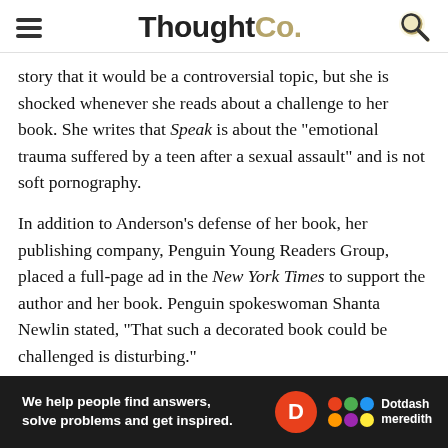ThoughtCo.
story that it would be a controversial topic, but she is shocked whenever she reads about a challenge to her book. She writes that Speak is about the "emotional trauma suffered by a teen after a sexual assault" and is not soft pornography.
In addition to Anderson's defense of her book, her publishing company, Penguin Young Readers Group, placed a full-page ad in the New York Times to support the author and her book. Penguin spokeswoman Shanta Newlin stated, "That such a decorated book could be challenged is disturbing."
Laurie Halse Anderson and Censorship
Anderson reveals in many interviews that the idea for Speak
[Figure (infographic): Dotdash Meredith advertisement banner: 'We help people find answers, solve problems and get inspired.' with D logo and Dotdash meredith branding on dark background.]